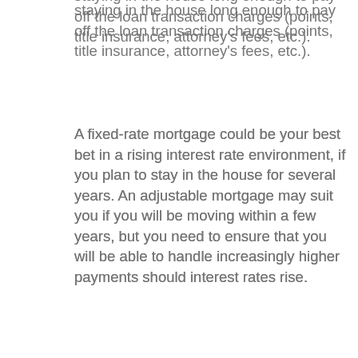staying in the house long enough to pay off the loan transaction charges (points, title insurance, attorney's fees, etc.).
A fixed-rate mortgage could be your best bet in a rising interest rate environment, if you plan to stay in the house for several years. An adjustable mortgage may suit you if you will be moving within a few years, but you need to ensure that you will be able to handle increasingly higher payments should interest rates rise.
One way to use mortgage refinancing to your advantage is to take out a new mortgage for the same duration as your old mortgage. The lower interest rate will result in lower monthly payments.
For example, if you took out a $150,000 30-year fixed-rate mortgage at 7.5 percent (including transaction charges), your monthly payment is now $1,049. Refinance at 6 percent with a 30-year fixed-rate mortgage of $150,000 (including transaction